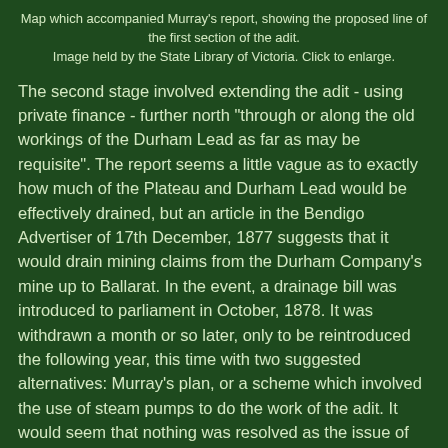Map which accompanied Murray's report, showing the proposed line of the first section of the adit. Image held by the State Library of Victoria. Click to enlarge.
The second stage involved extending the adit - using private finance - further north "through or along the old workings of the Durham Lead as far as may be requisite". The report seems a little vague as to exactly how much of the Plateau and Durham Lead would be effectively drained, but an article in the Bendigo Advertiser of 17th December, 1877 suggests that it would drain mining claims from the Durham Company's mine up to Ballarat. In the event, a drainage bill was introduced to parliament in October, 1878. It was withdrawn a month or so later, only to be reintroduced the following year, this time with two suggested alternatives: Murray's plan, or a scheme which involved the use of steam pumps to do the work of the adit. It would seem that nothing was resolved as the issue of draining the plateau was also in the newspapers in 1881, 1882 and again in 1886 when the Mines Department called for expressions of opinions as to how best to drain the plateau. The following year, the issue was put before a Parliamentary select committee where three proposals were tabled: 1) to drain the plateau entirely